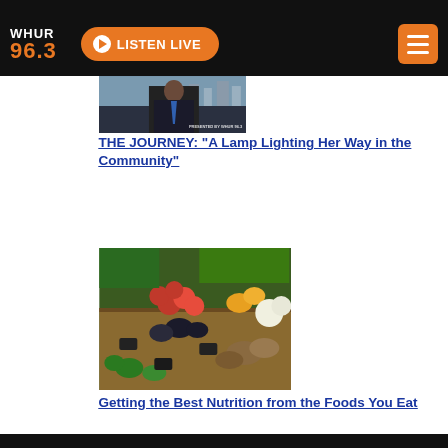WHUR 96.3 — LISTEN LIVE
[Figure (photo): Man in suit with blue tie standing outdoors, presented by WHUR 96.3]
THE JOURNEY: “A Lamp Lighting Her Way in the Community”
[Figure (photo): Colorful vegetable and produce market stall with tomatoes, peppers, potatoes and other vegetables]
Getting the Best Nutrition from the Foods You Eat